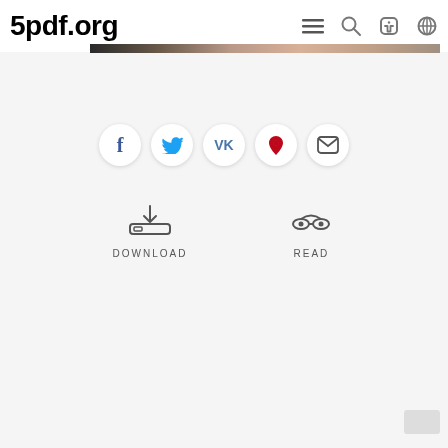5pdf.org
[Figure (other): Website screenshot showing 5pdf.org interface with social share buttons (Facebook, Twitter, VK, Pinterest, Email), and Download and Read action buttons with icons]
DOWNLOAD
READ